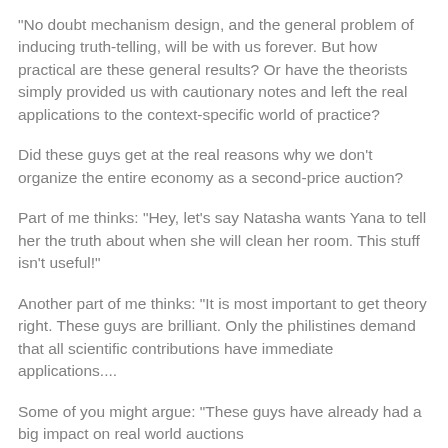“No doubt mechanism design, and the general problem of inducing truth-telling, will be with us forever. But how practical are these general results? Or have the theorists simply provided us with cautionary notes and left the real applications to the context-specific world of practice?
Did these guys get at the real reasons why we don’t organize the entire economy as a second-price auction?
Part of me thinks: "Hey, let's say Natasha wants Yana to tell her the truth about when she will clean her room. This stuff isn't useful!"
Another part of me thinks: "It is most important to get theory right. These guys are brilliant. Only the philistines demand that all scientific contributions have immediate applications....
Some of you might argue: "These guys have already had a big impact on real world auctions